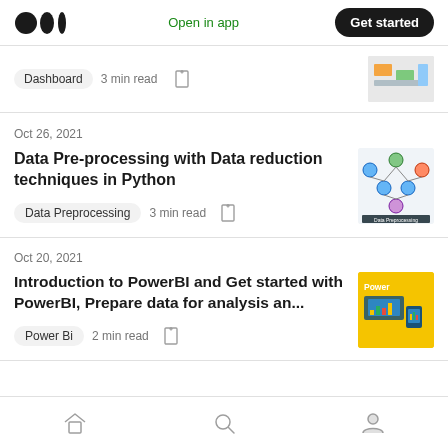Medium logo | Open in app | Get started
Dashboard  3 min read
Oct 26, 2021
Data Pre-processing with Data reduction techniques in Python
Data Preprocessing  3 min read
Oct 20, 2021
Introduction to PowerBI and Get started with PowerBI, Prepare data for analysis an...
Power Bi  2 min read
Home | Search | Profile